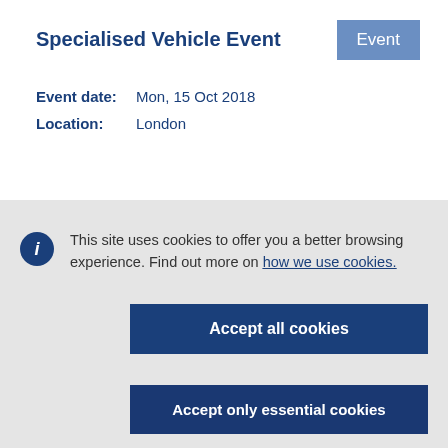Specialised Vehicle Event
Event
Event date:   Mon, 15 Oct 2018
Location:   London
This site uses cookies to offer you a better browsing experience. Find out more on how we use cookies.
Accept all cookies
Accept only essential cookies